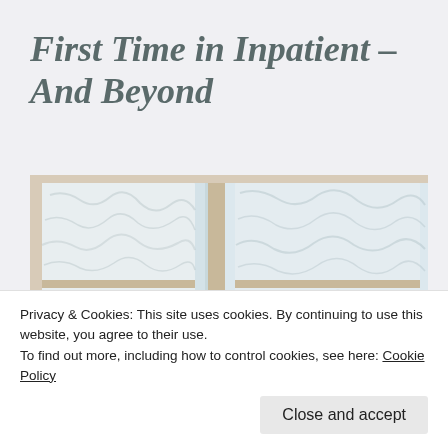First Time in Inpatient – And Beyond
[Figure (photo): Close-up photograph of frosted or textured glass window panes with white painted wooden frames, giving a wintry, institutional look.]
Privacy & Cookies: This site uses cookies. By continuing to use this website, you agree to their use.
To find out more, including how to control cookies, see here: Cookie Policy
Close and accept